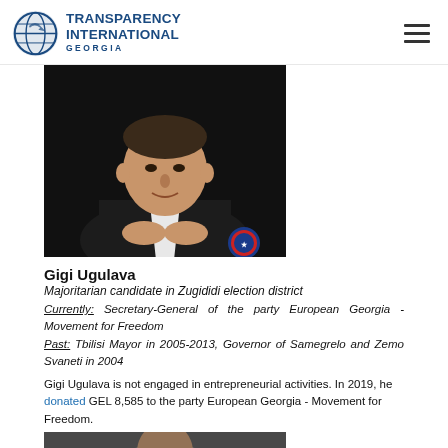[Figure (logo): Transparency International Georgia logo with globe icon and text]
[Figure (photo): Portrait photo of Gigi Ugulava, a man in a dark suit with hands clasped]
Gigi Ugulava
Majoritarian candidate in Zugididi election district
Currently: Secretary-General of the party European Georgia - Movement for Freedom
Past: Tbilisi Mayor in 2005-2013, Governor of Samegrelo and Zemo Svaneti in 2004
Gigi Ugulava is not engaged in entrepreneurial activities. In 2019, he donated GEL 8,585 to the party European Georgia - Movement for Freedom.
[Figure (photo): Bottom partial portrait photo of another person]